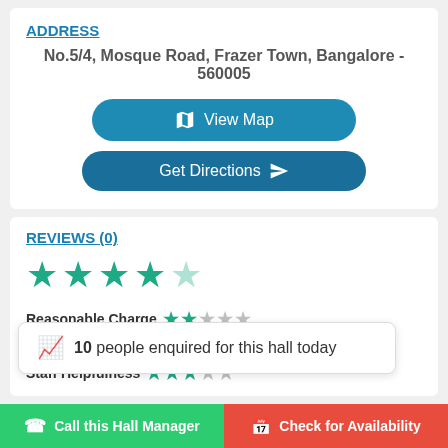ADDRESS
No.5/4, Mosque Road, Frazer Town, Bangalore - 560005
View Map
Get Directions
REVIEWS (0)
[Figure (other): 4 out of 5 stars rating display using teal filled and empty star icons]
Reasonable Charge
10  people enquired for this hall today
Staff Helpfulness
Call this Hall Manager
Check for Availability